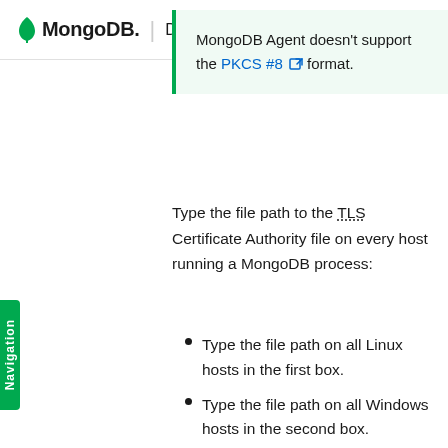MongoDB. | Documentation
MongoDB Agent doesn't support the PKCS #8 format.
Type the file path to the TLS Certificate Authority file on every host running a MongoDB process:
Type the file path on all Linux hosts in the first box.
Type the file path on all Windows hosts in the second box.
This enables the net.tls.CAFile setting for the MongoDB processes in the project.